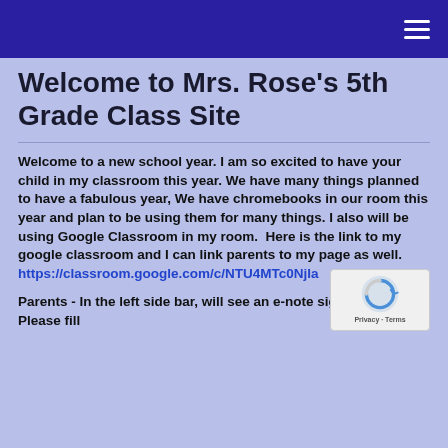Navigation bar with hamburger menu
Welcome to Mrs. Rose's 5th Grade Class Site
Welcome to a new school year. I am so excited to have your child in my classroom this year. We have many things planned to have a fabulous year, We have chromebooks in our room this year and plan to be using them for many things. I also will be using Google Classroom in my room. Here is the link to my google classroom and I can link parents to my page as well. https://classroom.google.com/c/NTU4MTc0NjIa
Parents - In the left side bar, will see an e-note sign-up module. Please fill